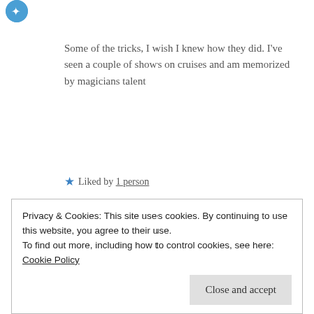[Figure (illustration): Partial blue circular avatar icon at top left]
Some of the tricks, I wish I knew how they did. I've seen a couple of shows on cruises and am memorized by magicians talent
★ Liked by 1 person
Reply
Chocoviv says:
July 1, 2019 at 7:01 am
Privacy & Cookies: This site uses cookies. By continuing to use this website, you agree to their use.
To find out more, including how to control cookies, see here: Cookie Policy
Close and accept